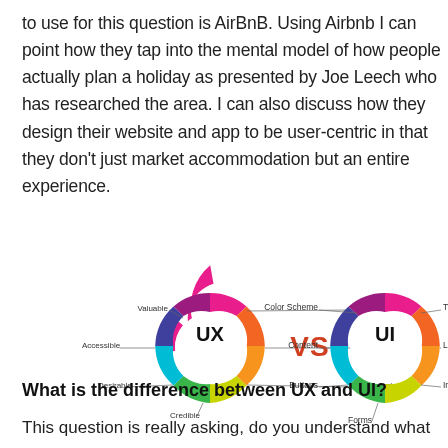to use for this question is AirBnB. Using Airbnb I can point how they tap into the mental model of how people actually plan a holiday as presented by Joe Leech who has researched the area. I also discuss how they design their website and app to be user-centric in that they don't just market accommodation but an entire experience.
[Figure (infographic): Two donut charts side by side labeled UX and UI with 'VS' between them. UX chart segments: Valuable (pink/magenta), Useful (orange), Satisfiable (orange), Convenient (yellow/green), Credible (green), Desirable (blue), Accessible (purple). UI chart segments: Color Scheme (pink/magenta), Typography (orange), Layout (orange/yellow), Images (green), Forms (green), Buttons (cyan/blue), Content (purple).]
What is the difference between UX and UI?
This question is really asking, do you understand what